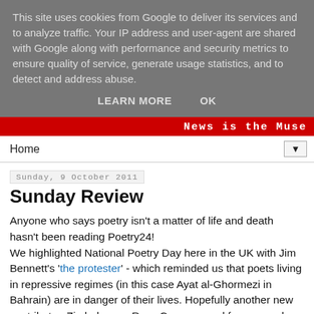This site uses cookies from Google to deliver its services and to analyze traffic. Your IP address and user-agent are shared with Google along with performance and security metrics to ensure quality of service, generate usage statistics, and to detect and address abuse.
LEARN MORE   OK
News is the Muse
Home
Sunday, 9 October 2011
Sunday Review
Anyone who says poetry isn't a matter of life and death hasn't been reading Poetry24!
We highlighted National Poetry Day here in the UK with Jim Bennett's 'the protester' - which reminded us that poets living in repressive regimes (in this case Ayat al-Ghormezi in Bahrain) are in danger of their lives. Hopefully another new contributer, Zimbabwean Ross Cooper, need fear no such